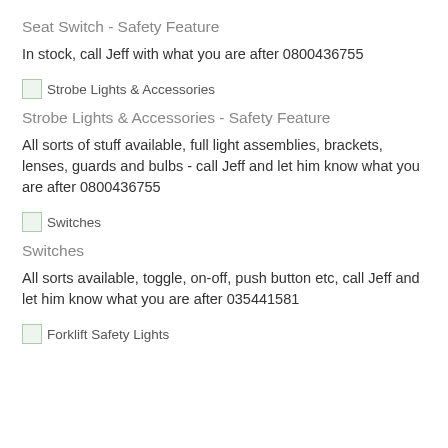Seat Switch - Safety Feature
In stock, call Jeff with what you are after 0800436755
[Figure (other): Small thumbnail image for Strobe Lights & Accessories]
Strobe Lights & Accessories - Safety Feature
All sorts of stuff available, full light assemblies, brackets, lenses, guards and bulbs - call Jeff and let him know what you are after 0800436755
[Figure (other): Small thumbnail image for Switches]
Switches
All sorts available, toggle, on-off, push button etc, call Jeff and let him know what you are after 035441581
[Figure (other): Small thumbnail image for Forklift Safety Lights]